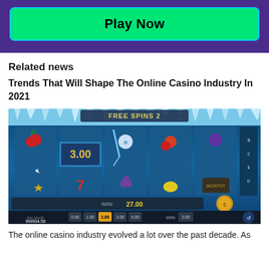[Figure (screenshot): Purple banner with a bright green 'Play Now' button outlined in cyan/light blue]
Related news
Trends That Will Shape The Online Casino Industry In 2021
[Figure (screenshot): Online slot game screenshot showing 'FREE SPINS 2' with a frozen/icy theme, WIN: 27.00, balance 999934.50, various fruit symbols and a lucky 7]
The online casino industry evolved a lot over the past decade. As